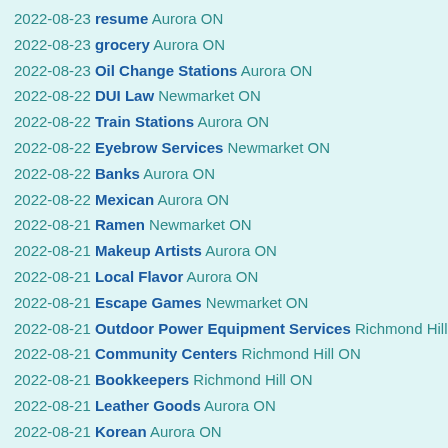2022-08-23 resume Aurora ON
2022-08-23 grocery Aurora ON
2022-08-23 Oil Change Stations Aurora ON
2022-08-22 DUI Law Newmarket ON
2022-08-22 Train Stations Aurora ON
2022-08-22 Eyebrow Services Newmarket ON
2022-08-22 Banks Aurora ON
2022-08-22 Mexican Aurora ON
2022-08-21 Ramen Newmarket ON
2022-08-21 Makeup Artists Aurora ON
2022-08-21 Local Flavor Aurora ON
2022-08-21 Escape Games Newmarket ON
2022-08-21 Outdoor Power Equipment Services Richmond Hill ON
2022-08-21 Community Centers Richmond Hill ON
2022-08-21 Bookkeepers Richmond Hill ON
2022-08-21 Leather Goods Aurora ON
2022-08-21 Korean Aurora ON
2022-08-21 Gastropubs Newmarket ON
2022-08-21 Notaries Richmond Hill ON
2022-08-21 Pet Boarding Richmond Hill ON
2022-08-21 Mobile Phone Repair Newmarket ON
2022-08-21 Eyelash Service Aurora ON
2022-08-21 Podiatrists Aurora ON